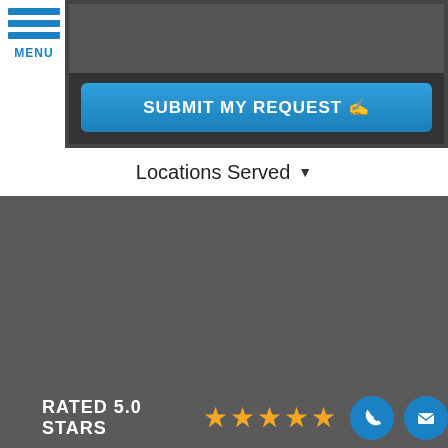[Figure (screenshot): Menu hamburger icon with three blue horizontal bars and MENU label]
SUBMIT MY REQUEST
Locations Served
RATED 5.0 STARS
[Figure (infographic): Five gold star rating icons]
[Figure (infographic): Blue circle phone icon and blue circle mail/envelope icon]